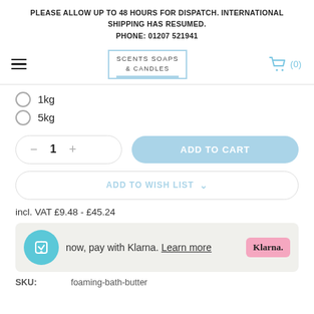PLEASE ALLOW UP TO 48 HOURS FOR DISPATCH. INTERNATIONAL SHIPPING HAS RESUMED.
PHONE: 01207 521941
[Figure (logo): Scents Soaps & Candles logo with light blue border and underline, hamburger menu icon on left, shopping cart icon on right showing (0)]
1kg
5kg
1  ADD TO CART
ADD TO WISH LIST
incl. VAT £9.48 - £45.24
now, pay with Klarna. Learn more  Klarna.
SKU:  foaming-bath-butter